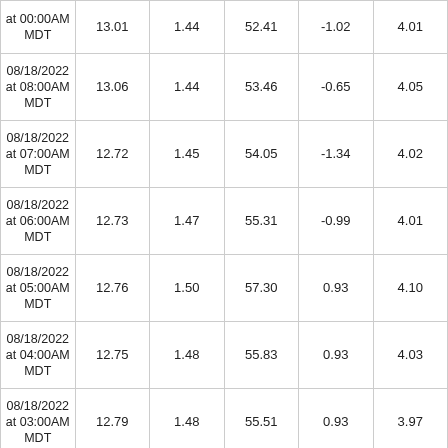| Date/Time | Col1 | Col2 | Col3 | Col4 | Col5 |
| --- | --- | --- | --- | --- | --- |
| at 00:00AM MDT | 13.01 | 1.44 | 52.41 | -1.02 | 4.01 |
| 08/18/2022 at 08:00AM MDT | 13.06 | 1.44 | 53.46 | -0.65 | 4.05 |
| 08/18/2022 at 07:00AM MDT | 12.72 | 1.45 | 54.05 | -1.34 | 4.02 |
| 08/18/2022 at 06:00AM MDT | 12.73 | 1.47 | 55.31 | -0.99 | 4.01 |
| 08/18/2022 at 05:00AM MDT | 12.76 | 1.50 | 57.30 | 0.93 | 4.10 |
| 08/18/2022 at 04:00AM MDT | 12.75 | 1.48 | 55.83 | 0.93 | 4.03 |
| 08/18/2022 at 03:00AM MDT | 12.79 | 1.48 | 55.51 | 0.93 | 3.97 |
| 08/18/2022 at 02:00AM MDT | 12.81 | 1.48 | 55.51 | 0.93 | 3.97 |